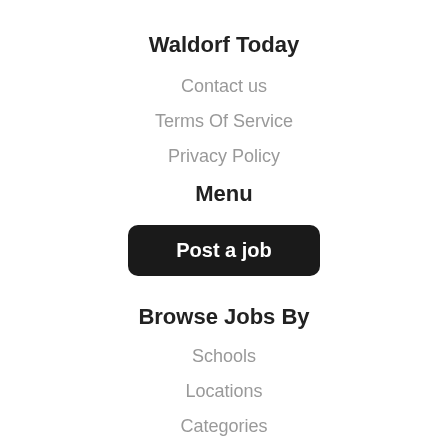Waldorf Today
Contact us
Terms Of Service
Privacy Policy
Menu
Post a job
Browse Jobs By
Schools
Locations
Categories
Schools